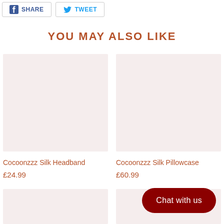[Figure (screenshot): Facebook Share button with Facebook icon]
[Figure (screenshot): Twitter Tweet button with Twitter bird icon]
YOU MAY ALSO LIKE
[Figure (photo): Product image placeholder for Cocoonzzz Silk Headband - light beige background]
Cocoonzzz Silk Headband
£24.99
[Figure (photo): Product image placeholder for Cocoonzzz Silk Pillowcase - light beige background]
Cocoonzzz Silk Pillowcase
£60.99
[Figure (photo): Product image placeholder - partial, cropped at bottom left]
[Figure (photo): Product image placeholder - partial, cropped at bottom right]
Chat with us